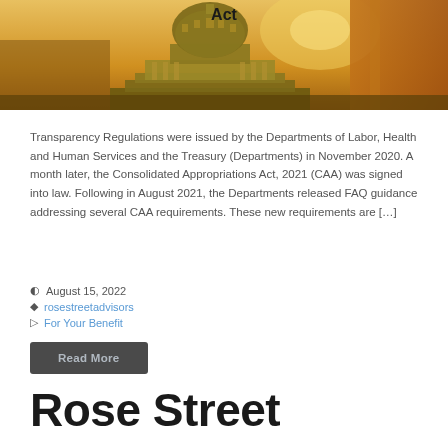[Figure (photo): Photograph of the US Capitol building dome at sunset with warm golden/amber tones, with the word 'Act' overlaid at the top center]
Transparency Regulations were issued by the Departments of Labor, Health and Human Services and the Treasury (Departments) in November 2020. A month later, the Consolidated Appropriations Act, 2021 (CAA) was signed into law. Following in August 2021, the Departments released FAQ guidance addressing several CAA requirements. These new requirements are […]
August 15, 2022
rosestreetadvisors
For Your Benefit
Read More
Rose Street